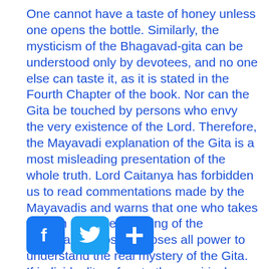One cannot have a taste of honey unless one opens the bottle. Similarly, the mysticism of the Bhagavad-gita can be understood only by devotees, and no one else can taste it, as it is stated in the Fourth Chapter of the book. Nor can the Gita be touched by persons who envy the very existence of the Lord. Therefore, the Mayavadi explanation of the Gita is a most misleading presentation of the whole truth. Lord Caitanya has forbidden us to read commentations made by the Mayavadis and warns that one who takes to such an understanding of the Mayavadi philosophy loses all power to understand the real mystery of the Gita. If individuality refers to the empirical universe, then there is no need of teaching by the Lord. The plurality of the individual soul and of the Lord is an eternal fact, and it is confirmed by the Vedas as above mentioned.
[Figure (other): Social sharing icons: Facebook (f), Twitter (bird), and a plus/more button]